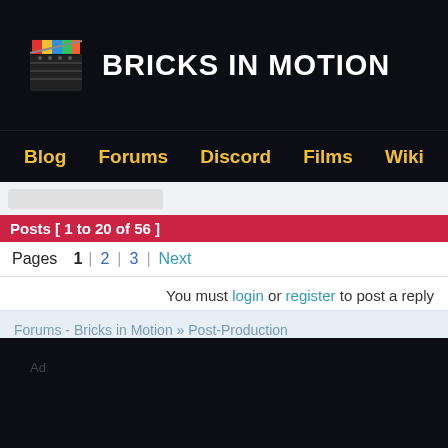BRICKS IN MOTION
Blog  Forums  Discord  Films  Wiki
Posts [ 1 to 20 of 56 ]
Pages  1  2  3  Next
You must login or register to post a reply
Forums - Bricks in Motion » Post-Production » The use of CGI in films...
[Figure (other): Ad placeholder box]
[Figure (other): Ad placeholder in dark footer area]